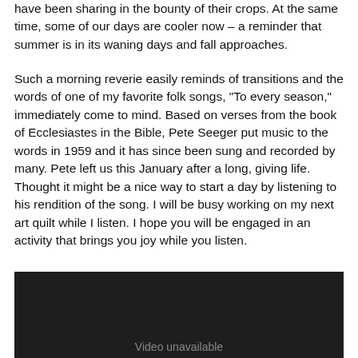have been sharing in the bounty of their crops. At the same time, some of our days are cooler now – a reminder that summer is in its waning days and fall approaches.
Such a morning reverie easily reminds of transitions and the words of one of my favorite folk songs, “To every season,” immediately come to mind. Based on verses from the book of Ecclesiastes in the Bible, Pete Seeger put music to the words in 1959 and it has since been sung and recorded by many. Pete left us this January after a long, giving life. Thought it might be a nice way to start a day by listening to his rendition of the song.  I will be busy working on my next art quilt while I listen. I hope you will be engaged in an activity that brings you joy while you listen.
[Figure (screenshot): Dark video player with 'Video unavailable' text shown at the bottom center]